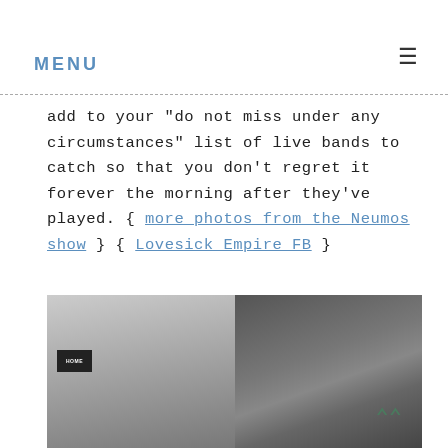MENU ☰
add to your "do not miss under any circumstances" list of live bands to catch so that you don't regret it forever the morning after they've played. { more photos from the Neumos show } { Lovesick Empire FB }
[Figure (photo): Black and white photo of a bearded man with glasses on the left side, and curtains/drapes visible on the right side. A 'HOME' sign is partially visible in the background on the left.]